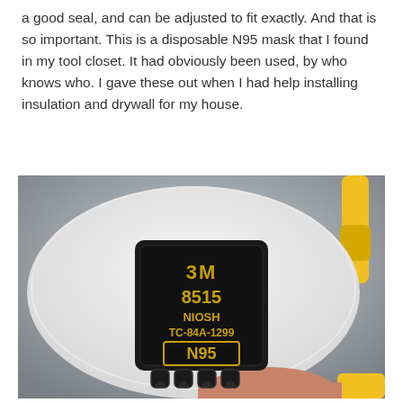a good seal, and can be adjusted to fit exactly. And that is so important. This is a disposable N95 mask that I found in my tool closet. It had obviously been used, by who knows who. I gave these out when I had help installing insulation and drywall for my house.
[Figure (photo): Close-up photo of a 3M 8515 N95 respirator mask held in a hand. The mask is white with a black rectangular filter component in the center labeled '3M 8515 NIOSH TC-84A-1299 N95'. A yellow strap is visible on the right side.]